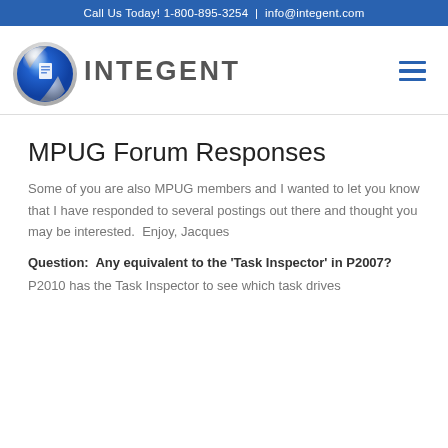Call Us Today! 1-800-895-3254  |  info@integent.com
[Figure (logo): Integent logo — blue sphere with silver accents and the word INTEGENT in dark grey bold letters]
MPUG Forum Responses
Some of you are also MPUG members and I wanted to let you know that I have responded to several postings out there and thought you may be interested.  Enjoy, Jacques
Question:  Any equivalent to the 'Task Inspector' in P2007?
P2010 has the Task Inspector to see which task drives